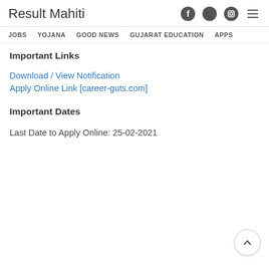Result Mahiti
JOBS  YOJANA  GOOD NEWS  GUJARAT EDUCATION  APPS
Important Links
Download / View Notification
Apply Online Link [career-guts.com]
Important Dates
Last Date to Apply Online: 25-02-2021